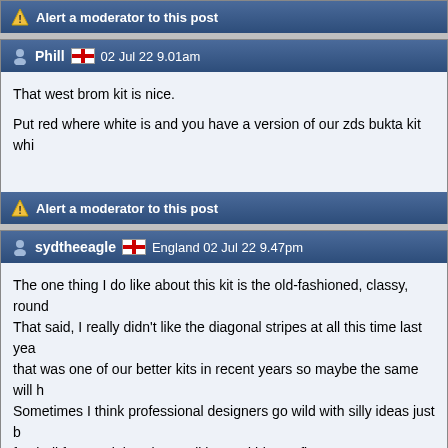Alert a moderator to this post
Phill 🏴󠁧󠁢󠁥󠁮󠁧󠁿 02 Jul 22 9.01am
That west brom kit is nice.

Put red where white is and you have a version of our zds bukta kit whi
Alert a moderator to this post
sydtheeagle 🏴󠁧󠁢󠁥󠁮󠁧󠁿 England 02 Jul 22 9.47pm
The one thing I do like about this kit is the old-fashioned, classy, round... That said, I really didn't like the diagonal stripes at all this time last yea... that was one of our better kits in recent years so maybe the same will h... Sometimes I think professional designers go wild with silly ideas just b... football fans mainly value tradition and history first.
Sydenham by birth. Selhurst by the Grace of God.